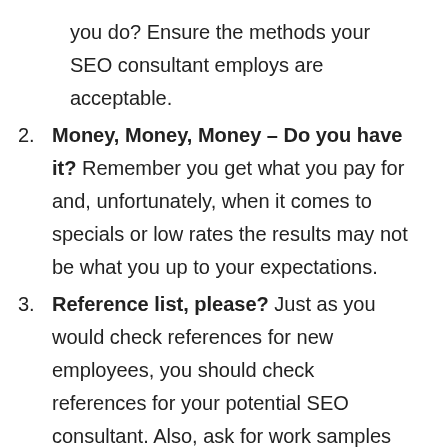you do? Ensure the methods your SEO consultant employs are acceptable.
Money, Money, Money – Do you have it? Remember you get what you pay for and, unfortunately, when it comes to specials or low rates the results may not be what you up to your expectations.
Reference list, please? Just as you would check references for new employees, you should check references for your potential SEO consultant. Also, ask for work samples and details about successful projects.
Have them tell you a story. Similar to